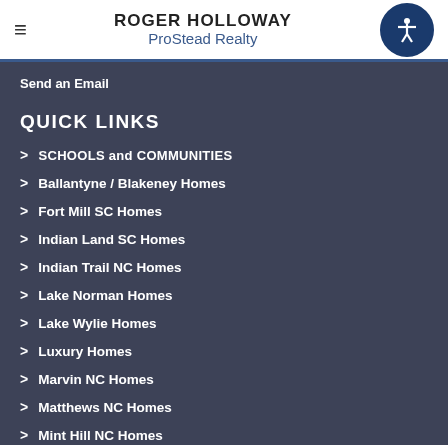ROGER HOLLOWAY ProStead Realty
Send an Email
QUICK LINKS
> SCHOOLS and COMMUNITIES
> Ballantyne / Blakeney Homes
> Fort Mill SC Homes
> Indian Land SC Homes
> Indian Trail NC Homes
> Lake Norman Homes
> Lake Wylie Homes
> Luxury Homes
> Marvin NC Homes
> Matthews NC Homes
> Mint Hill NC Homes